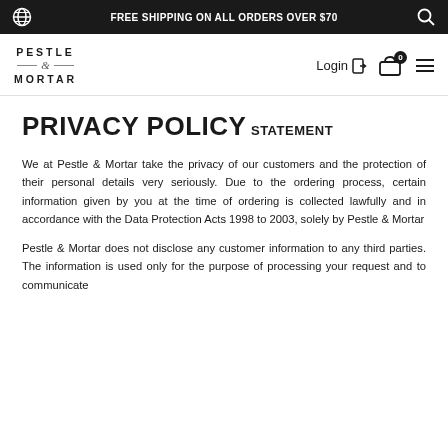FREE SHIPPING ON ALL ORDERS OVER $70
[Figure (logo): Pestle & Mortar logo with stylized ampersand between two horizontal lines]
PRIVACY POLICY
STATEMENT
We at Pestle & Mortar take the privacy of our customers and the protection of their personal details very seriously. Due to the ordering process, certain information given by you at the time of ordering is collected lawfully and in accordance with the Data Protection Acts 1998 to 2003, solely by Pestle & Mortar
Pestle & Mortar does not disclose any customer information to any third parties. The information is used only for the purpose of processing your request and to communicate